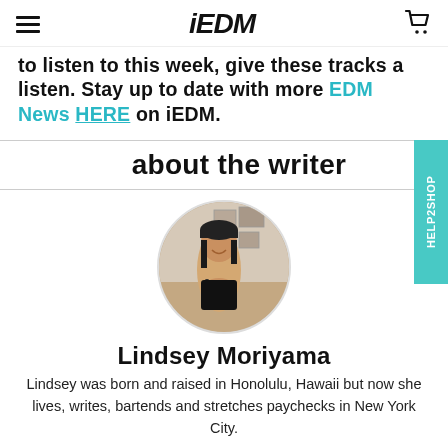iEDM
to listen to this week, give these tracks a listen. Stay up to date with more EDM News HERE on iEDM.
about the writer
[Figure (photo): Circular profile photo of Lindsey Moriyama holding a small dog, standing in front of framed artwork on a wall.]
Lindsey Moriyama
Lindsey was born and raised in Honolulu, Hawaii but now she lives, writes, bartends and stretches paychecks in New York City.